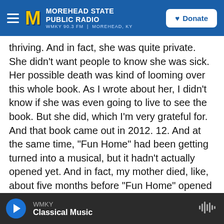MOREHEAD STATE PUBLIC RADIO WMKY 90.3 FM | MOREHEAD, KY
thriving. And in fact, she was quite private. She didn't want people to know she was sick. Her possible death was kind of looming over this whole book. As I wrote about her, I didn't know if she was even going to live to see the book. But she did, which I'm very grateful for. And that book came out in 2012. 12. And at the same time, "Fun Home" had been getting turned into a musical, but it hadn't actually opened yet. And in fact, my mother died, like, about five months before "Fun Home" opened at the Public Theater off Broadway.
GROSS: It must have been surreal to see your life
WMKY Classical Music